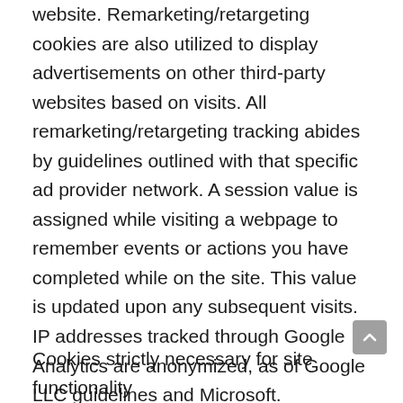website. Remarketing/retargeting cookies are also utilized to display advertisements on other third-party websites based on visits. All remarketing/retargeting tracking abides by guidelines outlined with that specific ad provider network. A session value is assigned while visiting a webpage to remember events or actions you have completed while on the site. This value is updated upon any subsequent visits. IP addresses tracked through Google Analytics are anonymized, as of Google LLC guidelines and Microsoft.
Cookies strictly necessary for site functionality